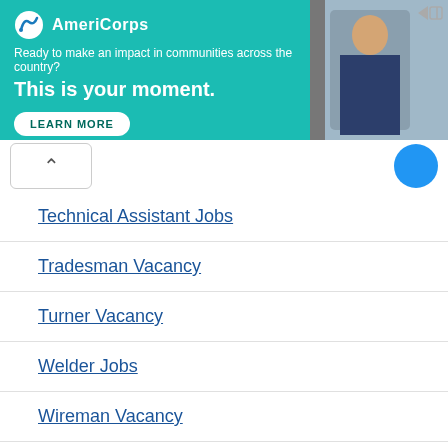[Figure (other): AmeriCorps advertisement banner with teal background. Logo and text: 'Ready to make an impact in communities across the country? This is your moment.' with LEARN MORE button. Right side shows a partial photo of a person.]
Technical Assistant Jobs
Tradesman Vacancy
Turner Vacancy
Welder Jobs
Wireman Vacancy
METRO RAIL JOBS 2022 IN INDIA
Bangalore Metro Rail BMRCL Jobs